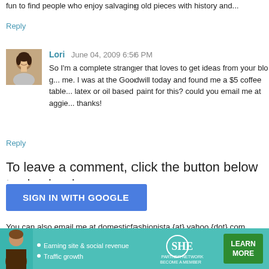fun to find people who enjoy salvaging old pieces with history and...
Reply
Lori  June 04, 2009 6:56 PM
So I'm a complete stranger that loves to get ideas from your blog... me. I was at the Goodwill today and found me a $5 coffee table... latex or oil based paint for this? could you email me at aggie... thanks!
Reply
To leave a comment, click the button below to sign in wi...
SIGN IN WITH GOOGLE
You can also email me at domesticfashionista {at} yahoo {dot} com.
Newer Post
Home
[Figure (infographic): SHE Partner Network advertisement banner with person photo, bullet points about earning site & social revenue and traffic growth, SHE logo, and Learn More button]